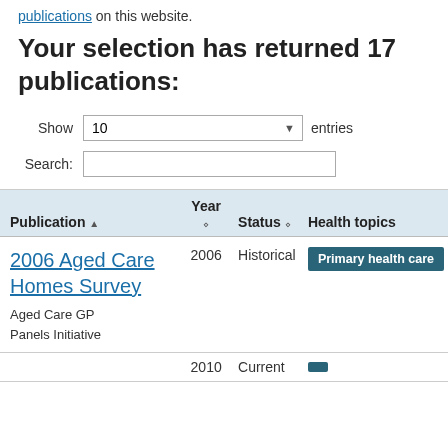publications on this website.
Your selection has returned 17 publications:
Show 10 entries
Search:
| Publication | Year | Status | Health topics |
| --- | --- | --- | --- |
| 2006 Aged Care Homes Survey
Aged Care GP Panels Initiative | 2006 | Historical | Primary health care |
| ... | 2010 | Current | ... |